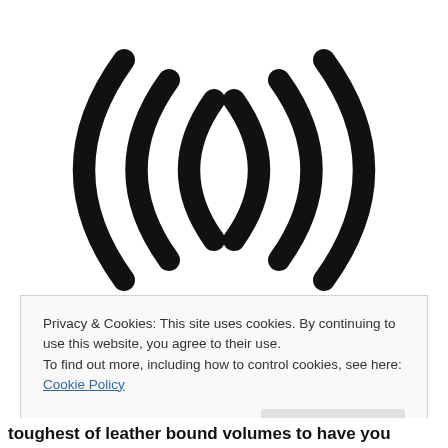[Figure (other): Large typographic symbol showing triple parentheses — (((  ))) — rendered in bold black, resembling an audio/wireless broadcast icon or echo chamber symbol.]
Privacy & Cookies: This site uses cookies. By continuing to use this website, you agree to their use.
To find out more, including how to control cookies, see here: Cookie Policy
Close and accept
toughest of leather bound volumes to have you